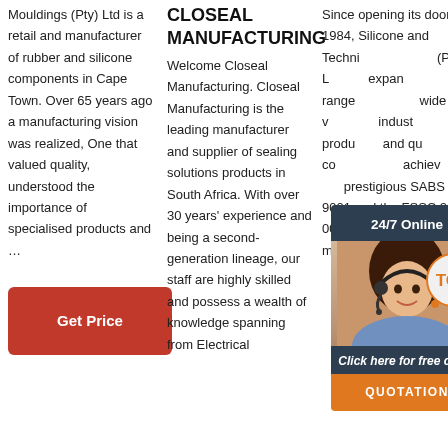Mouldings (Pty) Ltd is a retail and manufacturer of rubber and silicone components in Cape Town. Over 65 years ago a manufacturing vision was realized, One that valued quality, understood the importance of specialised products and …
[Figure (other): Red 'Get Price' button]
CLOSEAL MANUFACTURING
Welcome Closeal Manufacturing. Closeal Manufacturing is the leading manufacturer and supplier of sealing solutions products in South Africa. With over 30 years' experience and being a second-generation lineage, our staff are highly skilled and possess a wealth of knowledge spanning from Electrical
Since opening its doors in 1984, Silicone and Techni (Pty) L expan range wide v indust produ and qu the co achiev prestigious SABS ISO 9001 and the FSSC 22 000 food safety quality management system. A fter i
[Figure (other): 24/7 Online chat widget with female customer service representative photo, 'Click here for free chat!' text, orange QUOTATION button, and orange TOP badge]